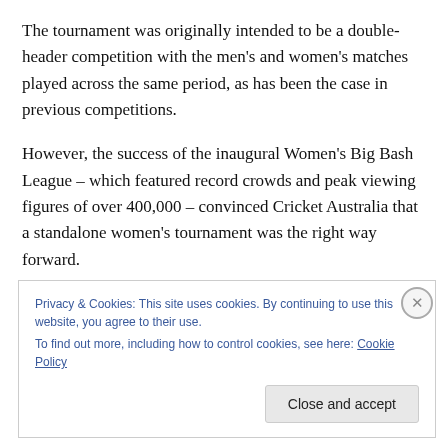The tournament was originally intended to be a double-header competition with the men's and women's matches played across the same period, as has been the case in previous competitions.
However, the success of the inaugural Women's Big Bash League – which featured record crowds and peak viewing figures of over 400,000 – convinced Cricket Australia that a standalone women's tournament was the right way forward.
Privacy & Cookies: This site uses cookies. By continuing to use this website, you agree to their use.
To find out more, including how to control cookies, see here: Cookie Policy
Close and accept